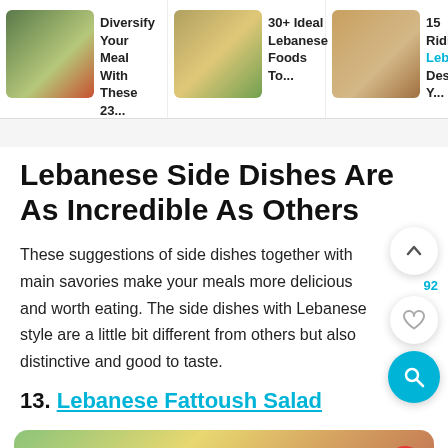Diversify Your Meal With These 23... | 30+ Ideal Lebanese Foods To... | 15 Ridiculo... Leban>se... Desserts Y...
Lebanese Side Dishes Are As Incredible As Others
These suggestions of side dishes together with main savories make your meals more delicious and worth eating. The side dishes with Lebanese style are a little bit different from others but also distinctive and good to taste.
13. Lebanese Fattoush Salad
[Figure (photo): Partial view of Lebanese Fattoush Salad food photo at the bottom of the page]